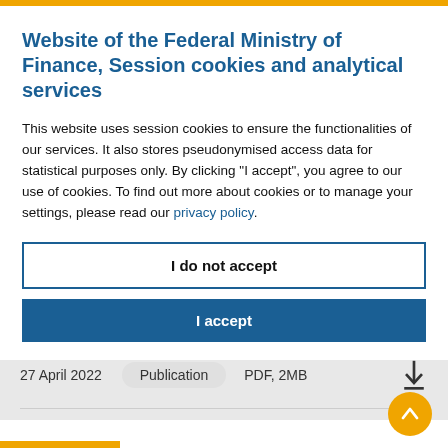Website of the Federal Ministry of Finance, Session cookies and analytical services
This website uses session cookies to ensure the functionalities of our services. It also stores pseudonymised access data for statistical purposes only. By clicking "I accept", you agree to our use of cookies. To find out more about cookies or to manage your settings, please read our privacy policy.
I do not accept
I accept
27 April 2022    Publication    PDF, 2MB